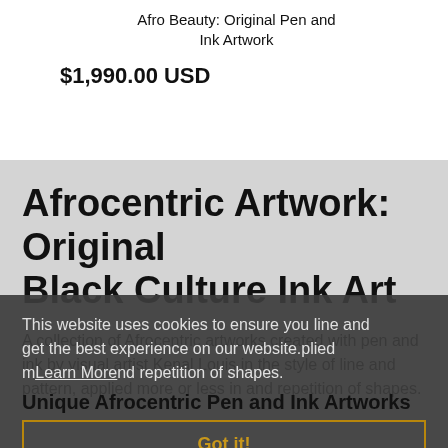Afro Beauty: Original Pen and Ink Artwork
$1,990.00 USD
Afrocentric Artwork: Original Black Culture Ink Art
A collection of Afrocentric artworks created with pen and ink by visual artist Kenal Louis in the style of line and pattern, applied more or less in and repetition of shapes.
This website uses cookies to ensure you get the best experience on our website.
Learn More
Unique Afrocentric Pen and Ink Artworks
Got it!
For the everyday person, a pen is used to just write. The individuals who are not the most